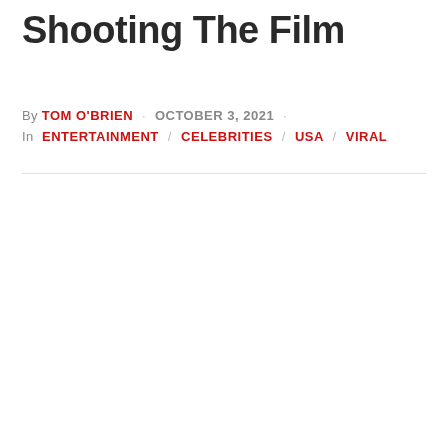Shooting The Film
By TOM O'BRIEN · OCTOBER 3, 2021 · In ENTERTAINMENT CELEBRITIES USA VIRAL